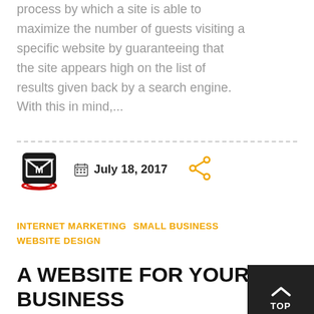process by which a site is able to maximize the number of guests visiting a specific website by guaranteeing that the site appears high on the list of results given back by a search engine. With this in mind,...
July 18, 2017
INTERNET MARKETING   SMALL BUSINESS   WEBSITE DESIGN
A WEBSITE FOR YOUR BUSINESS
[Figure (logo): Dark square logo icon with letter M and envelope symbol, with red circular border]
[Figure (other): Orange share icon]
TOP button with upward chevron